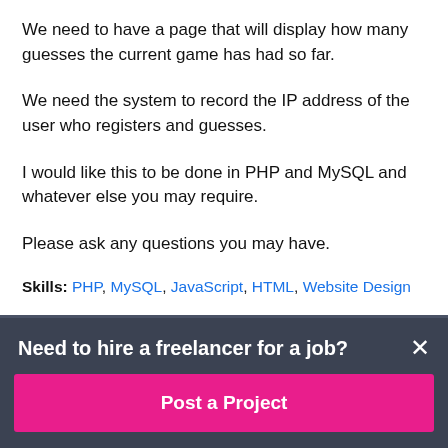We need to have a page that will display how many guesses the current game has had so far.
We need the system to record the IP address of the user who registers and guesses.
I would like this to be done in PHP and MySQL and whatever else you may require.
Please ask any questions you may have.
Skills: PHP, MySQL, JavaScript, HTML, Website Design
About the Client
Need to hire a freelancer for a job?
Post a Project